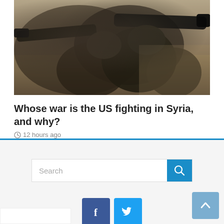[Figure (photo): Soldiers in military combat gear aiming weapons (likely a rocket launcher or sniper rifle) in a desert environment]
Whose war is the US fighting in Syria, and why?
12 hours ago
[Figure (other): Search bar with blue search button icon]
[Figure (other): Social media icons: Facebook (dark blue) and Twitter (light blue)]
[Figure (other): Back to top button (blue-grey, arrow pointing up)]